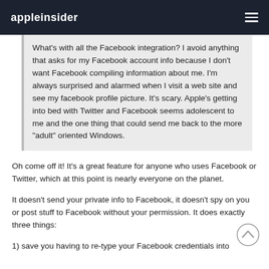appleinsider
What's with all the Facebook integration?  I avoid anything that asks for my Facebook account info because I don't want Facebook compiling information about me.  I'm always surprised and alarmed when I visit a web site and see my facebook profile picture.  It's scary.  Apple's getting into bed with Twitter and Facebook seems adolescent to me and the one thing that could send me back to the more "adult" oriented Windows.
Oh come off it! It's a great feature for anyone who uses Facebook or Twitter, which at this point is nearly everyone on the planet.
It doesn't send your private info to Facebook, it doesn't spy on you or post stuff to Facebook without your permission. It does exactly three things:
1) save you having to re-type your Facebook credentials into